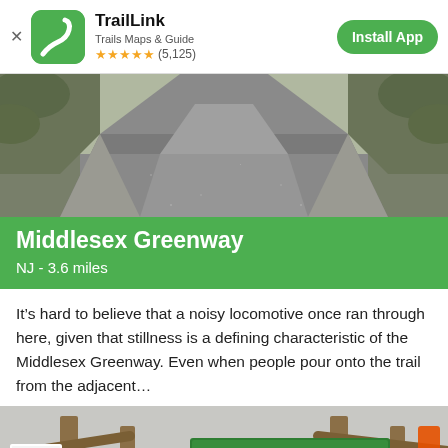TrailLink — Trails Maps & Guide ★★★★★ (5,125) — Install App
[Figure (photo): Paved gray trail path running through green vegetation, viewed from ground level looking ahead]
Middlesex Greenway
NJ - 3.6 miles
It's hard to believe that a noisy locomotive once ran through here, given that stillness is a defining characteristic of the Middlesex Greenway. Even when people pour onto the trail from the adjacent...
[Figure (photo): Entrance to Randolph Trails with green street sign reading RANDOLPH TRAILS, wooden fence gate, bicycle in foreground, signs on left]